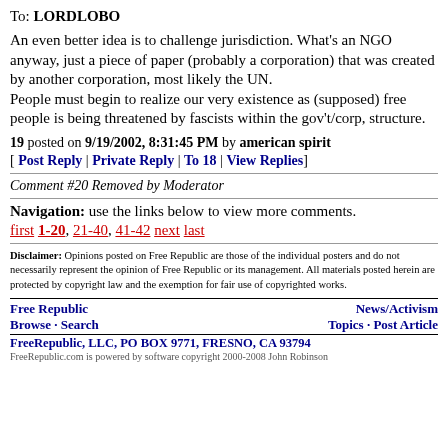To: LORDLOBO
An even better idea is to challenge jurisdiction. What's an NGO anyway, just a piece of paper (probably a corporation) that was created by another corporation, most likely the UN. People must begin to realize our very existence as (supposed) free people is being threatened by fascists within the gov't/corp, structure.
19 posted on 9/19/2002, 8:31:45 PM by american spirit
[ Post Reply | Private Reply | To 18 | View Replies]
Comment #20 Removed by Moderator
Navigation: use the links below to view more comments.
first 1-20, 21-40, 41-42 next last
Disclaimer: Opinions posted on Free Republic are those of the individual posters and do not necessarily represent the opinion of Free Republic or its management. All materials posted herein are protected by copyright law and the exemption for fair use of copyrighted works.
Free Republic
Browse · Search
News/Activism
Topics · Post Article
FreeRepublic, LLC, PO BOX 9771, FRESNO, CA 93794
FreeRepublic.com is powered by software copyright 2000-2008 John Robinson